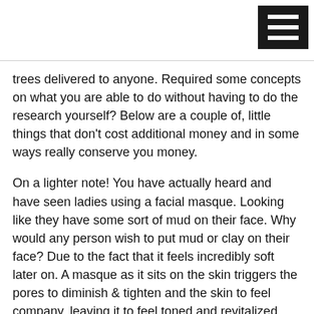[Figure (other): Hamburger menu icon — three white horizontal bars on black background, top-right corner]
trees delivered to anyone. Required some concepts on what you are able to do without having to do the research yourself? Below are a couple of, little things that don't cost additional money and in some ways really conserve you money.
On a lighter note! You have actually heard and have seen ladies using a facial masque. Looking like they have some sort of mud on their face. Why would any person wish to put mud or clay on their face? Due to the fact that it feels incredibly soft later on. A masque as it sits on the skin triggers the pores to diminish & tighten and the skin to feel company, leaving it to feel toned and revitalized. Keep in mind when using a masque to only use one that is natural.
know more about cbd products online here.